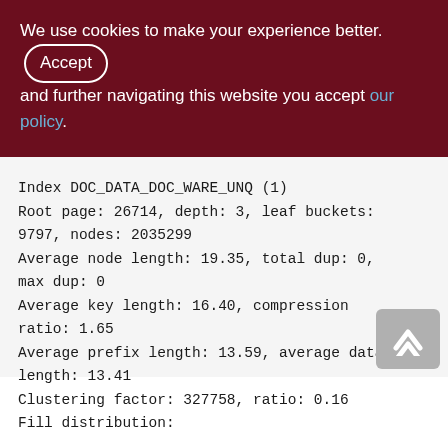We use cookies to make your experience better. By accepting and further navigating this website you accept our policy.
Index DOC_DATA_DOC_WARE_UNQ (1)
Root page: 26714, depth: 3, leaf buckets: 9797, nodes: 2035299
Average node length: 19.35, total dup: 0, max dup: 0
Average key length: 16.40, compression ratio: 1.65
Average prefix length: 13.59, average data length: 13.41
Clustering factor: 327758, ratio: 0.16
Fill distribution: